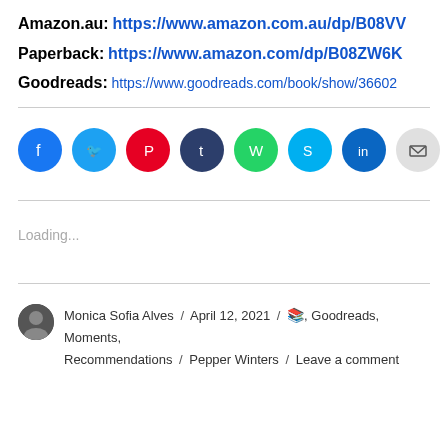Amazon.au: https://www.amazon.com.au/dp/B08VV...
Paperback: https://www.amazon.com/dp/B08ZW6K...
Goodreads: https://www.goodreads.com/book/show/36602...
[Figure (other): Row of social media share buttons: Facebook (blue), Twitter (light blue), Pinterest (red), Tumblr (dark navy), WhatsApp (green), Skype (cyan), LinkedIn (dark blue), Email (light grey)]
Loading...
Monica Sofia Alves / April 12, 2021 / 📚, Goodreads, Moments, Recommendations / Pepper Winters / Leave a comment